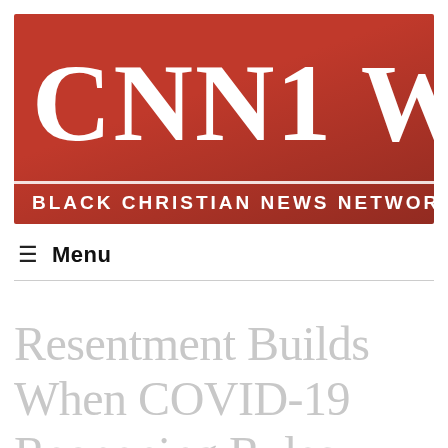[Figure (logo): CNN1 W — Black Christian News Network logo on red background]
≡ Menu
Resentment Builds When COVID-19 Reopening Rules Apply To Some…